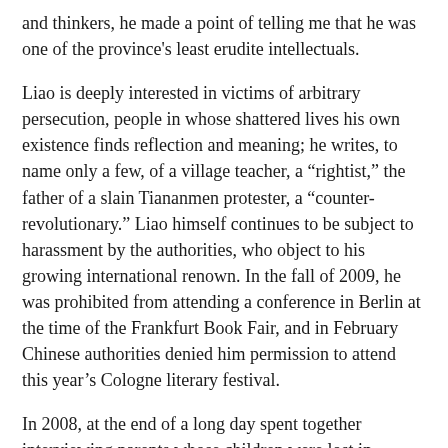and thinkers, he made a point of telling me that he was one of the province's least erudite intellectuals.
Liao is deeply interested in victims of arbitrary persecution, people in whose shattered lives his own existence finds reflection and meaning; he writes, to name only a few, of a village teacher, a “rightist,” the father of a slain Tiananmen protester, a “counter-revolutionary.” Liao himself continues to be subject to harassment by the authorities, who object to his growing international renown. In the fall of 2009, he was prohibited from attending a conference in Berlin at the time of the Frankfurt Book Fair, and in February Chinese authorities denied him permission to attend this year’s Cologne literary festival.
In 2008, at the end of a long day spent together interviewing parents whose children were lost in schools that collapsed during the earthquake in Sichuan, Liao took me to an old-fashioned tea house by the banks of the Jiang An River in a nearby city. Parent after parent broke down as they told Liao about the children they lost in the earthquake and the failure of the government to help find them. The government has its own story, its own “face” to